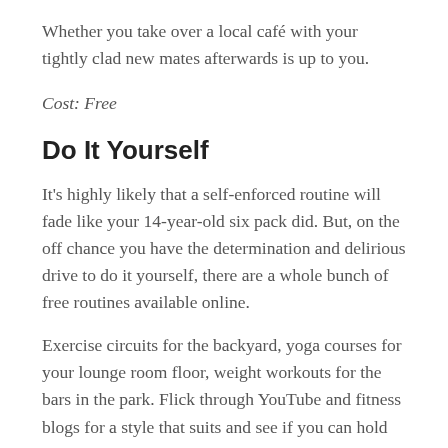Whether you take over a local café with your tightly clad new mates afterwards is up to you.
Cost: Free
Do It Yourself
It's highly likely that a self-enforced routine will fade like your 14-year-old six pack did. But, on the off chance you have the determination and delirious drive to do it yourself, there are a whole bunch of free routines available online.
Exercise circuits for the backyard, yoga courses for your lounge room floor, weight workouts for the bars in the park. Flick through YouTube and fitness blogs for a style that suits and see if you can hold